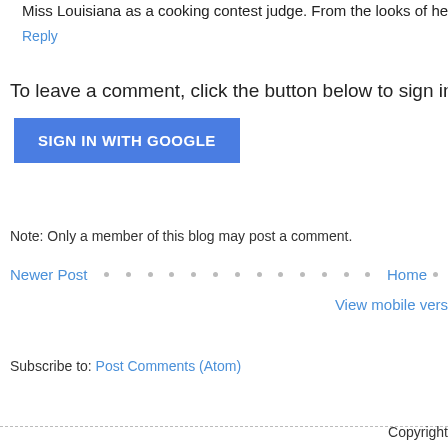Miss Louisiana as a cooking contest judge. From the looks of her, she lo
Reply
To leave a comment, click the button below to sign in wi
SIGN IN WITH GOOGLE
Note: Only a member of this blog may post a comment.
Newer Post
Home
View mobile vers
Subscribe to: Post Comments (Atom)
Copyright